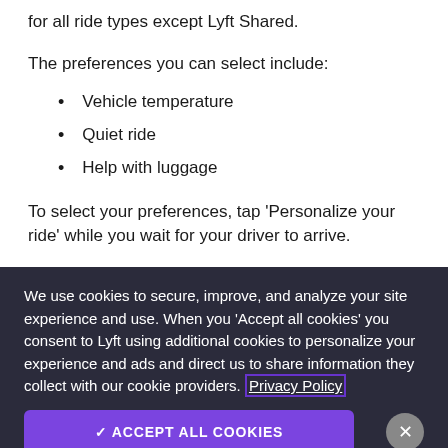for all ride types except Lyft Shared.
The preferences you can select include:
Vehicle temperature
Quiet ride
Help with luggage
To select your preferences, tap ‘Personalize your ride’ while you wait for your driver to arrive.
We use cookies to secure, improve, and analyze your site experience and use. When you ‘Accept all cookies’ you consent to Lyft using additional cookies to personalize your experience and ads and direct us to share information they collect with our cookie providers. Privacy Policy
✓ ACCEPT ALL COOKIES